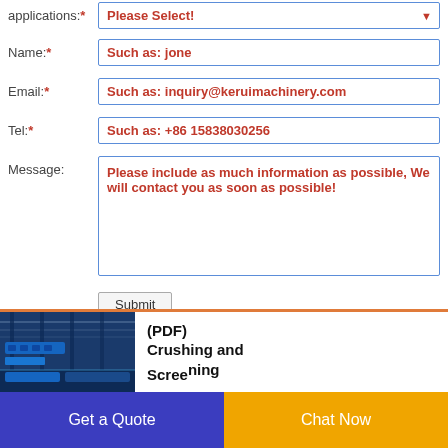applications:* Please Select!
Name:* Such as: jone
Email:* Such as: inquiry@keruimachinery.com
Tel:* Such as: +86 15838030256
Message: Please include as much information as possible, We will contact you as soon as possible!
Submit
[Figure (photo): Industrial crushing and screening machinery in a blue facility]
(PDF) Crushing and Screening
Get a Quote
Chat Now